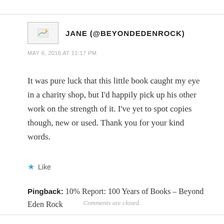JANE (@BEYONDEDENROCK)
MAY 6, 2016 AT 11:17 PM
It was pure luck that this little book caught my eye in a charity shop, but I’d happily pick up his other work on the strength of it. I’ve yet to spot copies though, new or used. Thank you for your kind words.
★ Like
Pingback: 10% Report: 100 Years of Books – Beyond Eden Rock
Comments are closed.